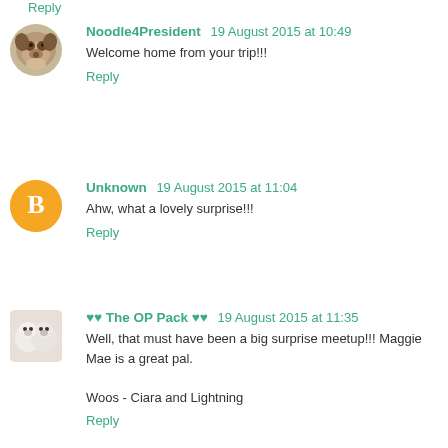Reply
Noodle4President 19 August 2015 at 10:49
Welcome home from your trip!!!
Reply
Unknown 19 August 2015 at 11:04
Ahw, what a lovely surprise!!!
Reply
♥♥ The OP Pack ♥♥ 19 August 2015 at 11:35
Well, that must have been a big surprise meetup!!! Maggie Mae is a great pal.

Woos - Ciara and Lightning
Reply